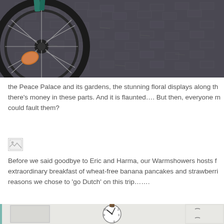[Figure (photo): Close-up photo of a bicycle wheel with a brown squash or gourd stuck in the spokes, on a herringbone brick/cobblestone pavement.]
the Peace Palace and its gardens, the stunning floral displays along th... there's money in these parts. And it is flaunted.... But then, everyone m... could fault them?
[Figure (photo): Broken/missing image placeholder icon.]
Before we said goodbye to Eric and Harma, our Warmshowers hosts f... extraordinary breakfast of wheat-free banana pancakes and strawberri... reasons we chose to 'go Dutch' on this trip.......
[Figure (photo): Interior room photo showing white walls, a wall clock displaying approximately 10:10, and a partially visible cabinet or furniture on the right.]